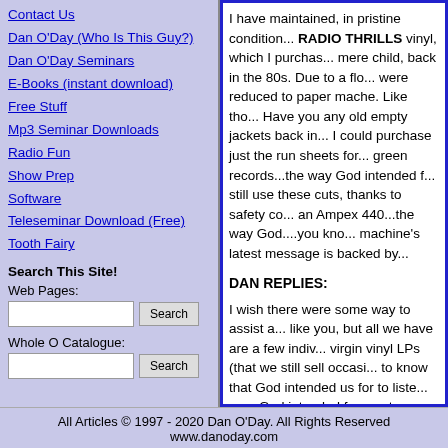Contact Us
Dan O'Day (Who Is This Guy?)
Dan O'Day Seminars
E-Books (instant download)
Free Stuff
Mp3 Seminar Downloads
Radio Fun
Show Prep
Software
Teleseminar Download (Free)
Tooth Fairy
Search This Site!
Web Pages:
Whole O Catalogue:
I have maintained, in pristine condition... RADIO THRILLS vinyl, which I purchased as a mere child, back in the 80s. Due to a flood, were reduced to paper mache. Like though... Have you any old empty jackets back in... I could purchase just the run sheets for the green records...the way God intended... still use these cuts, thanks to safety copy an Ampex 440...the way God....you kno... machine's latest message is backed by...
DAN REPLIES:
I wish there were some way to assist a... like you, but all we have are a few indiv... virgin vinyl LPs (that we still sell occasi... to know that God intended us for to liste... sure God intended for use to use Macin... his reasons for exiling Apple's marketin... cyberspatial desert for 40 eons.)
We don't have any unused jackets, anc... of jacket sleeves. (I do understand exa... and if I had any I'd be happy to send th...
Sorry I couldn't help.
All Articles © 1997 - 2020 Dan O'Day. All Rights Reserved
www.danoday.com